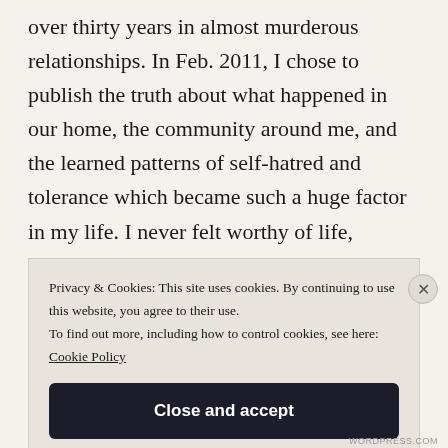over thirty years in almost murderous relationships. In Feb. 2011, I chose to publish the truth about what happened in our home, the community around me, and the learned patterns of self-hatred and tolerance which became such a huge factor in my life. I never felt worthy of life, breathing, love & respect; not until I honestly began a strong focus on healing myself. There were many traits and
Privacy & Cookies: This site uses cookies. By continuing to use this website, you agree to their use. To find out more, including how to control cookies, see here: Cookie Policy
Close and accept
WORDPRESS.COM